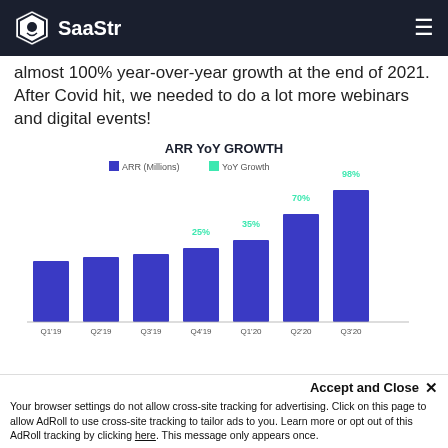SaaStr
almost 100% year-over-year growth at the end of 2021. After Covid hit, we needed to do a lot more webinars and digital events!
[Figure (bar-chart): ARR YoY GROWTH]
Your browser settings do not allow cross-site tracking for advertising. Click on this page to allow AdRoll to use cross-site tracking to tailor ads to you. Learn more or opt out of this AdRoll tracking by clicking here. This message only appears once.